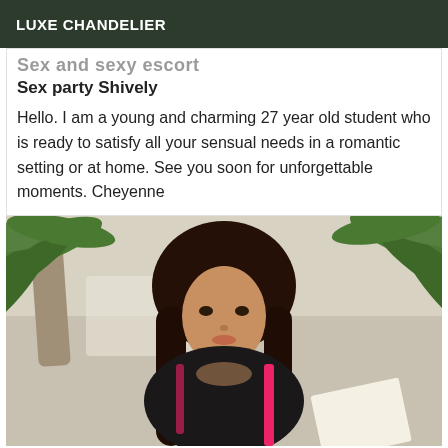LUXE CHANDELIER
Sex and sexy escort
Sex party Shively
Hello. I am a young and charming 27 year old student who is ready to satisfy all your sensual needs in a romantic setting or at home. See you soon for unforgettable moments. Cheyenne
[Figure (photo): Young brunette woman with long dark hair, wearing a dark top with pink straps, posed outdoors near palm trees with a white paper or book visible in the lower right.]